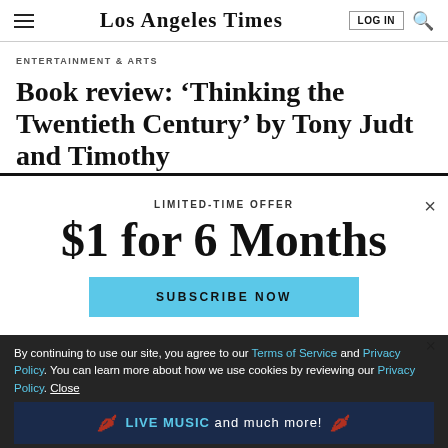Los Angeles Times — LOG IN | Search
ENTERTAINMENT & ARTS
Book review: ‘Thinking the Twentieth Century’ by Tony Judt and Timothy
LIMITED-TIME OFFER
$1 for 6 Months
SUBSCRIBE NOW
By continuing to use our site, you agree to our Terms of Service and Privacy Policy. You can learn more about how we use cookies by reviewing our Privacy Policy. Close